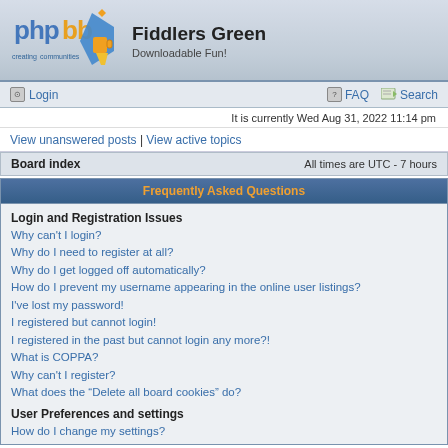[Figure (logo): phpBB logo — 'phpbb creating communities' with blue pentagon and orange/yellow mug graphic]
Fiddlers Green
Downloadable Fun!
Login
FAQ
Search
It is currently Wed Aug 31, 2022 11:14 pm
View unanswered posts | View active topics
Board index    All times are UTC - 7 hours
Frequently Asked Questions
Login and Registration Issues
Why can't I login?
Why do I need to register at all?
Why do I get logged off automatically?
How do I prevent my username appearing in the online user listings?
I've lost my password!
I registered but cannot login!
I registered in the past but cannot login any more?!
What is COPPA?
Why can't I register?
What does the “Delete all board cookies” do?
User Preferences and settings
How do I change my settings?